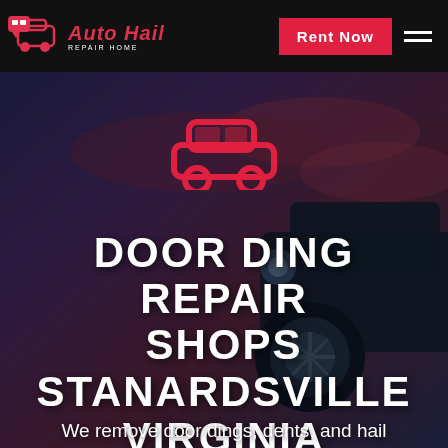Auto Hail Repair Home | Rent Now
[Figure (logo): Auto Hail Repair Home logo with car and speech bubble icons in red and white on black header bar]
DOOR DING REPAIR SHOPS STANARDSVILLE VIRGINIA
We remove door dings, dents, and hail